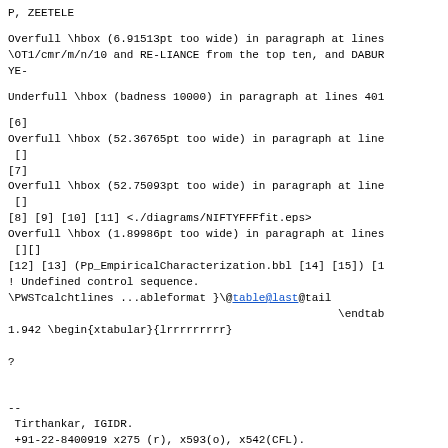P, ZEETELE
Overfull \hbox (6.91513pt too wide) in paragraph at lines
\OT1/cmr/m/n/10 and RE-LIANCE from the top ten, and DABUR
YE-
Underfull \hbox (badness 10000) in paragraph at lines 401
[6]
Overfull \hbox (52.36765pt too wide) in paragraph at line
 []
[7]
Overfull \hbox (52.75093pt too wide) in paragraph at line
 []
[8] [9] [10] [11] <./diagrams/NIFTYFFFfit.eps>
Overfull \hbox (1.89986pt too wide) in paragraph at lines
 [][]
[12] [13] (Pp_EmpiricalCharacterization.bbl [14] [15]) [1
! Undefined control sequence.
\PWSTcalchtlines ...ableformat }\@table@last@tail
                                                  \endtab
1.942 \begin{xtabular}{lrrrrrrrrr}

?
--
 Tirthankar, IGIDR.
 +91-22-8400919 x275 (r), x593(o), x542(CFL).